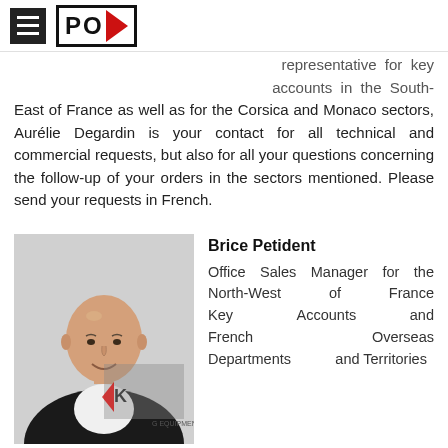POK logo and navigation
representative for key accounts in the South-East of France as well as for the Corsica and Monaco sectors, Aurélie Degardin is your contact for all technical and commercial requests, but also for all your questions concerning the follow-up of your orders in the sectors mentioned. Please send your requests in French.
[Figure (photo): Portrait photo of Brice Petident, a bald man in a dark suit smiling, with POK branding in the background]
Brice Petident
Office Sales Manager for the North-West of France Key Accounts and French Overseas Departments and Territories